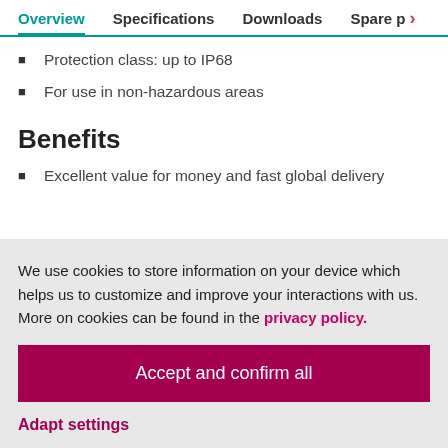Overview  Specifications  Downloads  Spare p >
Protection class: up to IP68
For use in non-hazardous areas
Benefits
Excellent value for money and fast global delivery
We use cookies to store information on your device which helps us to customize and improve your interactions with us. More on cookies can be found in the privacy policy.
Accept and confirm all
Adapt settings